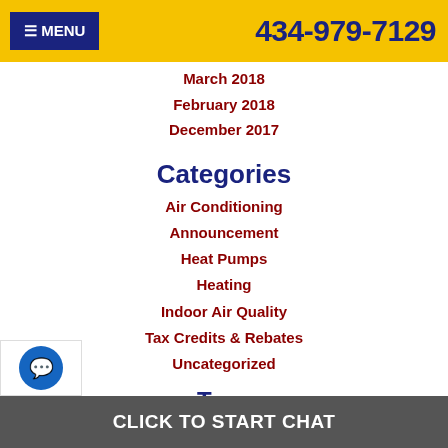MENU   434-979-7129
March 2018
February 2018
December 2017
Categories
Air Conditioning
Announcement
Heat Pumps
Heating
Indoor Air Quality
Tax Credits & Rebates
Uncategorized
Tags
CLICK TO START CHAT